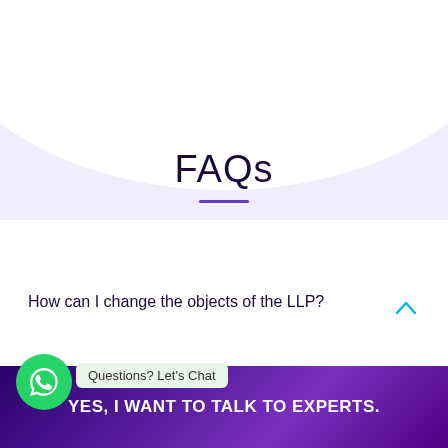[Figure (illustration): Decorative light purple/lavender arc shape at top of page against white background]
FAQs
How can I change the objects of the LLP?
What are the documents required for
[Figure (illustration): WhatsApp green circle icon with phone/chat symbol, and a chat bubble saying 'Questions? Let's Chat']
YES, I WANT TO TALK TO EXPERTS.